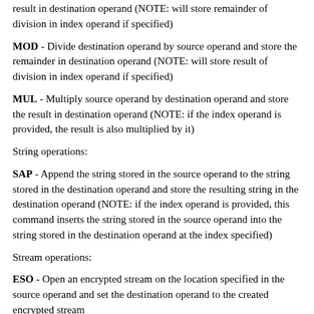result in destination operand (NOTE: will store remainder of division in index operand if specified)
MOD - Divide destination operand by source operand and store the remainder in destination operand (NOTE: will store result of division in index operand if specified)
MUL - Multiply source operand by destination operand and store the result in destination operand (NOTE: if the index operand is provided, the result is also multiplied by it)
String operations:
SAP - Append the string stored in the source operand to the string stored in the destination operand and store the resulting string in the destination operand (NOTE: if the index operand is provided, this command inserts the string stored in the source operand into the string stored in the destination operand at the index specified)
Stream operations:
ESO - Open an encrypted stream on the location specified in the source operand and set the destination operand to the created encrypted stream
PSO - Open a plaintext stream on the location specified in the